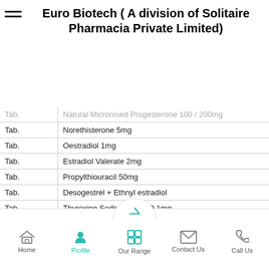Euro Biotech ( A division of Solitaire Pharmacia Private Limited)
| Type | Product |
| --- | --- |
| Tab. | Natural Micronised Progesterone 100 / 200mg |
| Tab. | Norethisterone 5mg |
| Tab. | Oestradiol 1mg |
| Tab. | Estradiol Valerate 2mg |
| Tab. | Propylthiouracil 50mg |
| Tab. | Desogestrel + Ethnyl estradiol |
| Tab. | Thyroxine Sodium 0.05 / 0.1mg. |
| Tab. | Tibolone 2.5mg |
Home | Profile | Our Range | Contact Us | Call Us